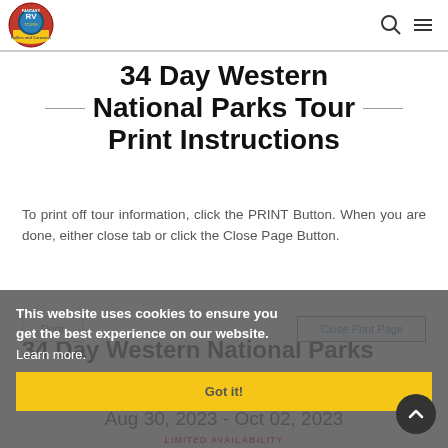Fantasy RV Tours - Rallies and Caravans
34 Day Western National Parks Tour Print Instructions
To print off tour information, click the PRINT Button. When you are done, either close tab or click the Close Page Button.
Print | Close Print Page
This website uses cookies to ensure you get the best experience on our website. Learn more.
Got it!
34 Day Western National Parks
Aug 30, 2023 - Oct 02, 2023
LIMITED AVAILABILITY